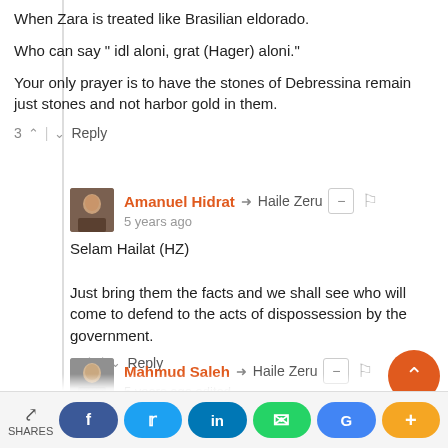When Zara is treated like Brasilian eldorado.
Who can say " idl aloni, grat (Hager) aloni."
Your only prayer is to have the stones of Debressina remain just stones and not harbor gold in them.
3 ^ | v Reply
Amanuel Hidrat → Haile Zeru
5 years ago
Selam Hailat (HZ)

Just bring them the facts and we shall see who will come to defend to the acts of dispossession by the government.
1 ^ | v Reply
Mahmud Saleh → Haile Zeru
5 years ago edited
MarHaba HaileZ (Z great wesKelu)